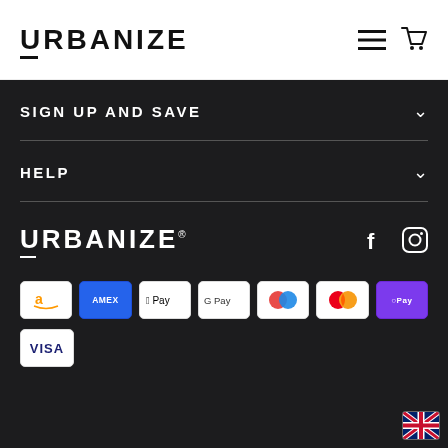[Figure (logo): URBANIZE logo in black bold text on white header, with underline accent]
[Figure (illustration): Hamburger menu icon and shopping cart icon in top right]
SIGN UP AND SAVE
HELP
[Figure (logo): URBANIZE logo in white bold text on dark background with registered trademark symbol]
[Figure (illustration): Facebook and Instagram social media icons in white on dark background]
[Figure (illustration): Payment method icons: Amazon, American Express, Apple Pay, Google Pay, Maestro, Mastercard, Shop Pay, Visa]
[Figure (illustration): UK flag icon in bottom right corner]